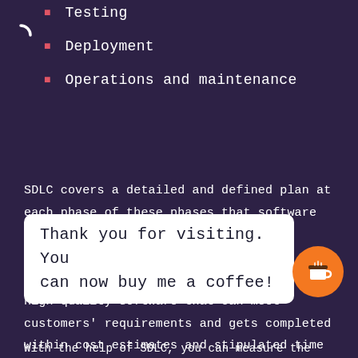Testing
Deployment
Operations and maintenance
SDLC covers a detailed and defined plan at each phase of these phases that software development teams use to plan, build, test, deploy, and maintain a software solution. This cycle helps you produce high-quality software that can meet customers' requirements and gets completed within cost estimates and stipulated time frames.
Thank you for visiting. You can now buy me a coffee!
With the help of SDLC, you can measure the